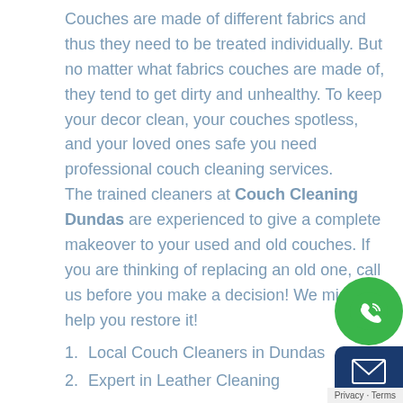Couches are made of different fabrics and thus they need to be treated individually. But no matter what fabrics couches are made of, they tend to get dirty and unhealthy. To keep your decor clean, your couches spotless, and your loved ones safe you need professional couch cleaning services. The trained cleaners at Couch Cleaning Dundas are experienced to give a complete makeover to your used and old couches. If you are thinking of replacing an old one, call us before you make a decision! We might help you restore it!
1. Local Couch Cleaners in Dundas
2. Expert in Leather Cleaning
3. Steam Upholstery Cleaning
4. Sofa Fabric Protection
5. Stain & Mould Removal